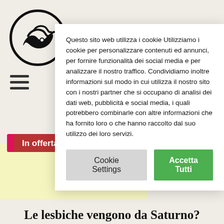[Figure (logo): Circular logo with stylized wave illustration in black and white]
Carmignani
[Figure (other): Hamburger menu icon (three horizontal lines)]
Questo sito web utilizza i cookie Utilizziamo i cookie per personalizzare contenuti ed annunci, per fornire funzionalità dei social media e per analizzare il nostro traffico. Condividiamo inoltre informazioni sul modo in cui utilizza il nostro sito con i nostri partner che si occupano di analisi dei dati web, pubblicità e social media, i quali potrebbero combinarle con altre informazioni che ha fornito loro o che hanno raccolto dal suo utilizzo dei loro servizi.
Cookie Settings
Accetta Tutti
In offerta
Le lesbiche vengono da Saturno?